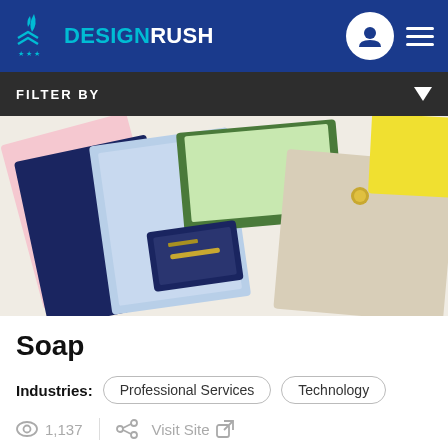DESIGNRUSH
FILTER BY
[Figure (photo): Colorful stationery and business card designs arranged on a flat surface, featuring pastel colors including pink, blue, green, yellow and beige with gold foil accents.]
Soap
Industries: Professional Services | Technology
1,137 | Visit Site